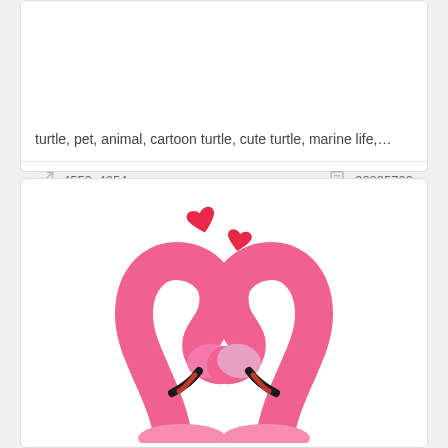turtle, pet, animal, cartoon turtle, cute turtle, marine life,...
4550x4854px
22085700
[Figure (illustration): Cartoon illustration of two pink flamingos facing each other with their necks forming a heart shape, with red heart icons floating above them, on a white background.]